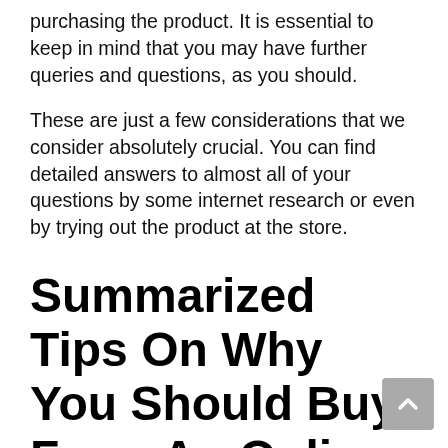purchasing the product. It is essential to keep in mind that you may have further queries and questions, as you should.
These are just a few considerations that we consider absolutely crucial. You can find detailed answers to almost all of your questions by some internet research or even by trying out the product at the store.
Summarized Tips On Why You Should Buy From An Online Marketplace